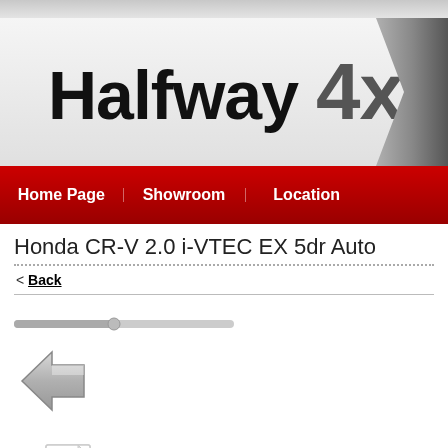[Figure (logo): Halfway 4x4 logo on grey gradient background with chevron/arrow shape on right side]
[Figure (screenshot): Red navigation bar with menu items: Home Page, Showroom, Location]
Honda CR-V 2.0 i-VTEC EX 5dr Auto
< Back
[Figure (other): Horizontal scrollbar element]
[Figure (other): Grey left-pointing arrow button (back navigation)]
[Figure (other): Upload/image icon at bottom]